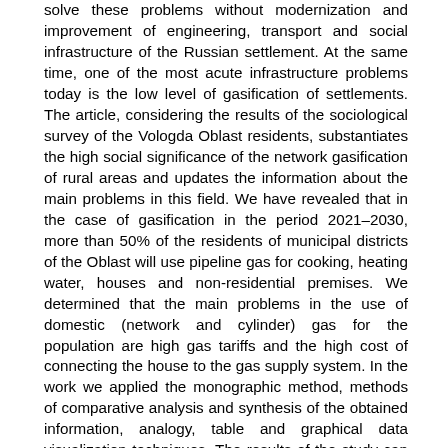solve these problems without modernization and improvement of engineering, transport and social infrastructure of the Russian settlement. At the same time, one of the most acute infrastructure problems today is the low level of gasification of settlements. The article, considering the results of the sociological survey of the Vologda Oblast residents, substantiates the high social significance of the network gasification of rural areas and updates the information about the main problems in this field. We have revealed that in the case of gasification in the period 2021–2030, more than 50% of the residents of municipal districts of the Oblast will use pipeline gas for cooking, heating water, houses and non-residential premises. We determined that the main problems in the use of domestic (network and cylinder) gas for the population are high gas tariffs and the high cost of connecting the house to the gas supply system. In the work we applied the monographic method, methods of comparative analysis and synthesis of the obtained information, analogy, table and graphical data visualization techniques. The results of the study can be used by the authorities to improve the policy of socio-economic development, when substantiating the relevance, developing and implementing projects of rural areas gasification in the Oblast, as well as researchers and